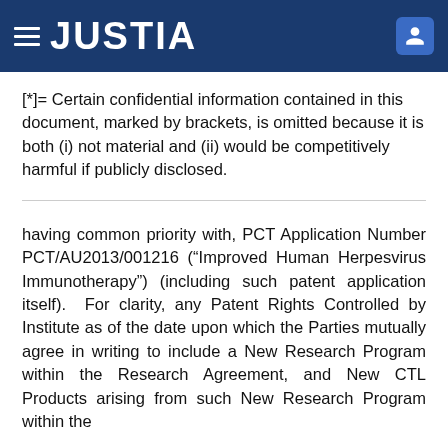JUSTIA
[*]= Certain confidential information contained in this document, marked by brackets, is omitted because it is both (i) not material and (ii) would be competitively harmful if publicly disclosed.
having common priority with, PCT Application Number PCT/AU2013/001216 (“Improved Human Herpesvirus Immunotherapy”) (including such patent application itself). For clarity, any Patent Rights Controlled by Institute as of the date upon which the Parties mutually agree in writing to include a New Research Program within the Research Agreement, and New CTL Products arising from such New Research Program within the